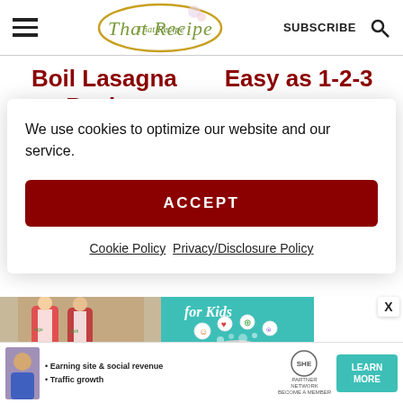That Recipe — SUBSCRIBE
Boil Lasagna Recipe  Easy as 1-2-3
We use cookies to optimize our website and our service.
ACCEPT
Cookie Policy  Privacy/Disclosure Policy
[Figure (screenshot): Ad banner showing people in aprons cooking, teal section with text 'for Kids', and SHE Partner Network learn more button]
• Earning site & social revenue  • Traffic growth   SHE PARTNER NETWORK BECOME A MEMBER   LEARN MORE